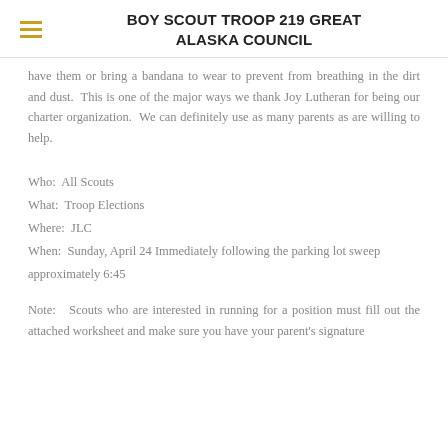BOY SCOUT TROOP 219 GREAT ALASKA COUNCIL
have them or bring a bandana to wear to prevent from breathing in the dirt and dust.  This is one of the major ways we thank Joy Lutheran for being our charter organization.  We can definitely use as many parents as are willing to help.
Who:  All Scouts
What:  Troop Elections
Where:  JLC
When:  Sunday, April 24 Immediately following the parking lot sweep approximately 6:45
Note:   Scouts who are interested in running for a position must fill out the attached worksheet and make sure you have your parent's signature